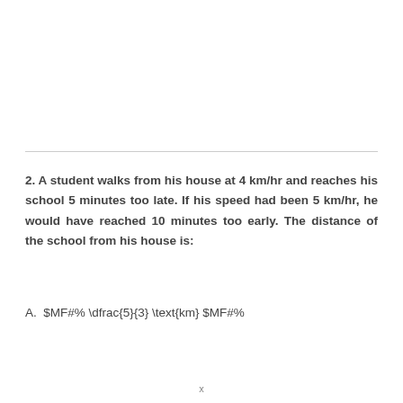2. A student walks from his house at 4 km/hr and reaches his school 5 minutes too late. If his speed had been 5 km/hr, he would have reached 10 minutes too early. The distance of the school from his house is:
A.  $MF#% \dfrac{5}{3} \text{km} $MF#%